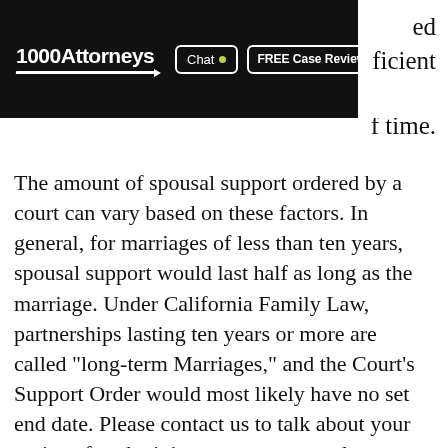1000Attorneys | Chat | FREE Case Review
ed icient f time.
The amount of spousal support ordered by a court can vary based on these factors. In general, for marriages of less than ten years, spousal support would last half as long as the marriage. Under California Family Law, partnerships lasting ten years or more are called "long-term Marriages," and the Court's Support Order would most likely have no set end date. Please contact us to talk about your options for obtaining a proper spousal support order during or after your divorce.